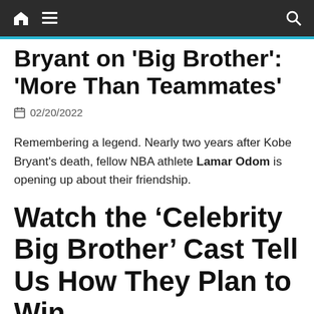nav bar with home, menu, and search icons
Bryant on 'Big Brother': 'More Than Teammates'
02/20/2022
Remembering a legend. Nearly two years after Kobe Bryant’s death, fellow NBA athlete Lamar Odom is opening up about their friendship.
Watch the ‘Celebrity Big Brother’ Cast Tell Us How They Plan to Win
“Kobe was my teammate on the Lakers and we were more than just teammates, we were like brothers.”